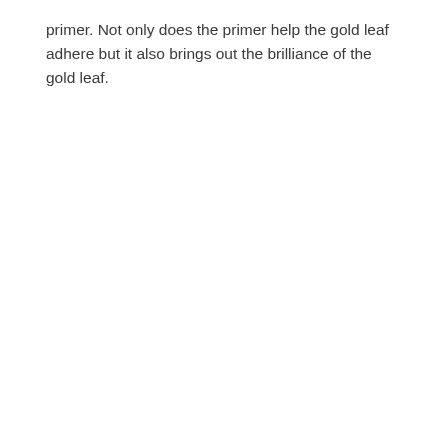primer. Not only does the primer help the gold leaf adhere but it also brings out the brilliance of the gold leaf.